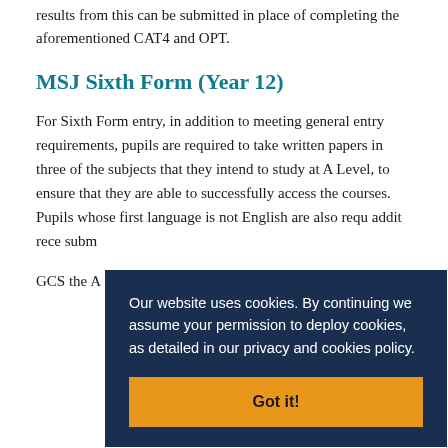results from this can be submitted in place of completing the aforementioned CAT4 and OPT.
MSJ Sixth Form (Year 12)
For Sixth Form entry, in addition to meeting general entry requirements, pupils are required to take written papers in three of the subjects that they intend to study at A Level, to ensure that they are able to successfully access the courses. Pupils whose first language is not English are also requ addit rece subm
GCS the A
[Figure (screenshot): Cookie consent overlay with dark navy background. Text reads: 'Our website uses cookies. By continuing we assume your permission to deploy cookies, as detailed in our privacy and cookies policy.' Below is an orange button labeled 'Got it!']